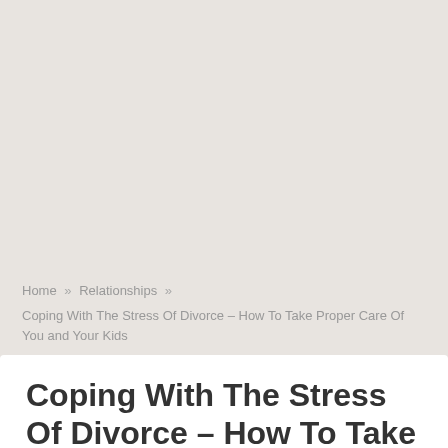[Figure (other): Large blank advertisement/banner area with light beige-gray background]
Home » Relationships »
Coping With The Stress Of Divorce – How To Take Proper Care Of You and Your Kids
Coping With The Stress Of Divorce – How To Take Proper Care Of You and Your Kids